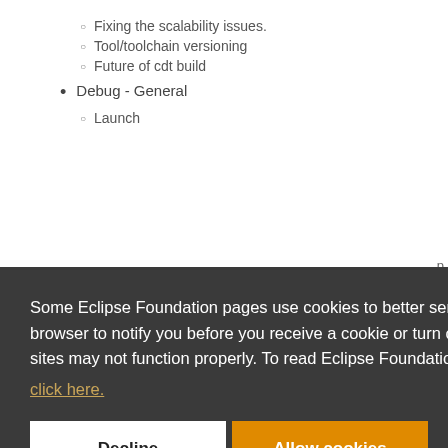Fixing the scalability issues.
Tool/toolchain versioning
Future of cdt build
Debug - General
Launch
Some Eclipse Foundation pages use cookies to better serve you when you return to the site. You can set your browser to notify you before you receive a cookie or turn off cookies. If you do so, however, some areas of some sites may not function properly. To read Eclipse Foundation Privacy Policy click here.
Use of TCF